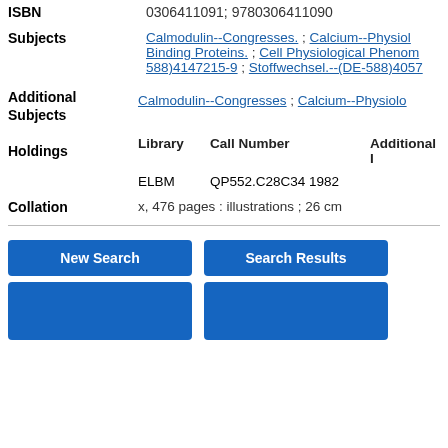| Field | Value |
| --- | --- |
| ISBN | 0306411091; 9780306411090 |
| Subjects | Calmodulin--Congresses. ; Calcium--Physiol Binding Proteins. ; Cell Physiological Phenom 588)4147215-9 ; Stoffwechsel.--(DE-588)4057 |
| Additional Subjects | Calmodulin--Congresses ; Calcium--Physiolo |
| Holdings | Library | Call Number | Additional I
ELBM | QP552.C28C34 1982 |
| Collation | x, 476 pages : illustrations ; 26 cm |
New Search | Search Results